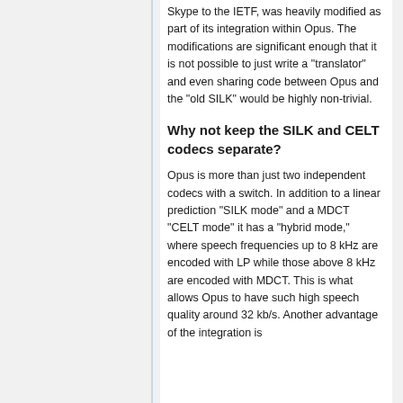Skype to the IETF, was heavily modified as part of its integration within Opus. The modifications are significant enough that it is not possible to just write a "translator" and even sharing code between Opus and the "old SILK" would be highly non-trivial.
Why not keep the SILK and CELT codecs separate?
Opus is more than just two independent codecs with a switch. In addition to a linear prediction "SILK mode" and a MDCT "CELT mode" it has a "hybrid mode," where speech frequencies up to 8 kHz are encoded with LP while those above 8 kHz are encoded with MDCT. This is what allows Opus to have such high speech quality around 32 kb/s. Another advantage of the integration is